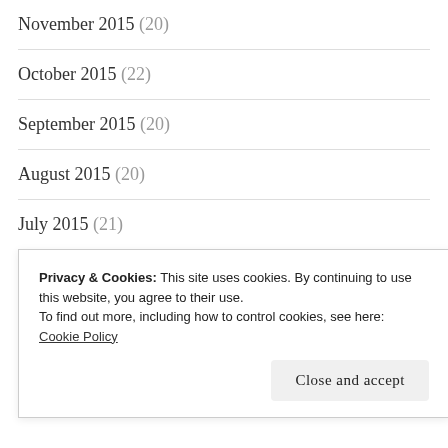November 2015 (20)
October 2015 (22)
September 2015 (20)
August 2015 (20)
July 2015 (21)
June 2015 (21)
May 2015 (17)
Privacy & Cookies: This site uses cookies. By continuing to use this website, you agree to their use.
To find out more, including how to control cookies, see here:
Cookie Policy
Close and accept